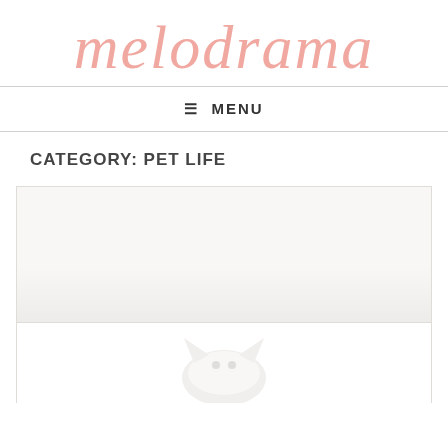melodrama
≡ MENU
CATEGORY: PET LIFE
[Figure (photo): A light-colored, mostly white image area representing a blog post thumbnail, showing a pale background with what appears to be a white cat or white object at the bottom center.]